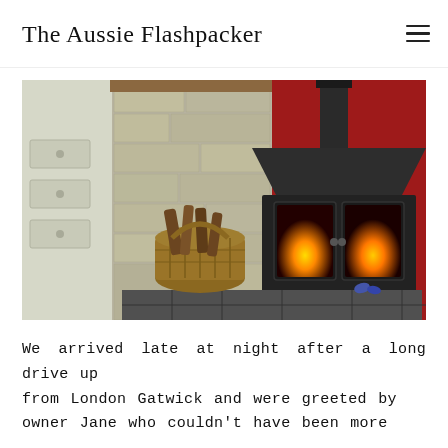The Aussie Flashpacker
[Figure (photo): A cozy fireplace scene with a black wood-burning stove on slate tiles, with orange flames visible through the glass doors. A stone surround frames the fireplace, and a wicker basket filled with firewood sits to the left. The wall behind is painted red.]
We arrived late at night after a long drive up from London Gatwick and were greeted by owner Jane who couldn't have been more